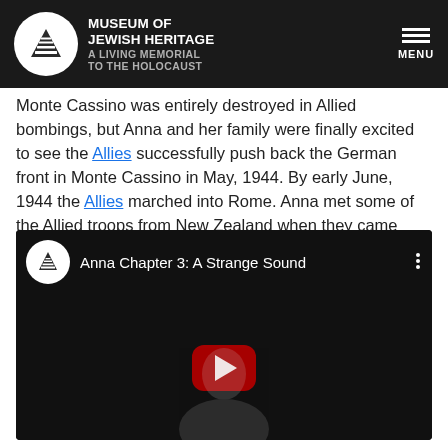Museum of Jewish Heritage — A Living Memorial to the Holocaust
Monte Cassino was entirely destroyed in Allied bombings, but Anna and her family were finally excited to see the Allies successfully push back the German front in Monte Cassino in May, 1944. By early June, 1944 the Allies marched into Rome. Anna met some of the Allied troops from New Zealand when they came through Alvito.
[Figure (screenshot): YouTube video embed titled 'Anna Chapter 3: A Strange Sound' showing a dark thumbnail of a woman with a red play button overlay and Museum of Jewish Heritage logo]